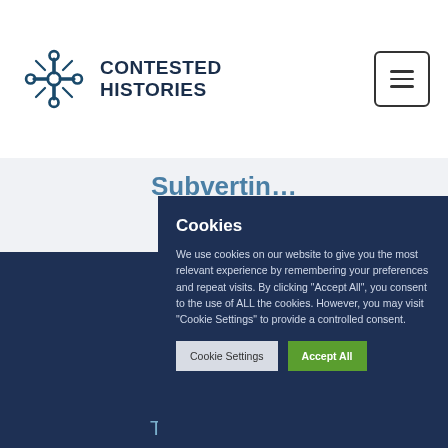[Figure (logo): Contested Histories logo — decorative cross/flower pattern in dark teal/navy blue, with text 'CONTESTED HISTORIES' beside it]
Subverting... Fu...
We use cookies on our website to give you the most relevant experience by remembering your preferences and repeat visits. By clicking "Accept All", you consent to the use of ALL the cookies. However, you may visit "Cookie Settings" to provide a controlled consent.
The Netherlands